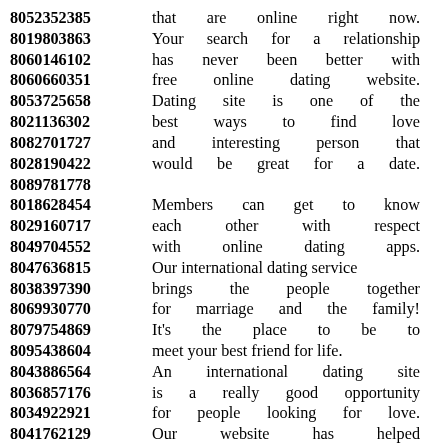8052352385 that are online right now.
8019803863 Your search for a relationship
8060146102 has never been better with
8060660351 free online dating website.
8053725658 Dating site is one of the
8021136302 best ways to find love
8082701727 and interesting person that
8028190422 would be great for a date.
8089781778
8018628454 Members can get to know
8029160717 each other with respect
8049704552 with online dating apps.
8047636815 Our international dating service
8038397390 brings the people together
8069930770 for marriage and the family!
8079754869 It's the place to be to
8095438604 meet your best friend for life.
8043886564 An international dating site
8036857176 is a really good opportunity
8034922921 for people looking for love.
8041762129 Our website has helped
8061194359 thousands of singles find their
8082374128 prospective long-term partner.
8053699285
8062111646 It is for entertainment and